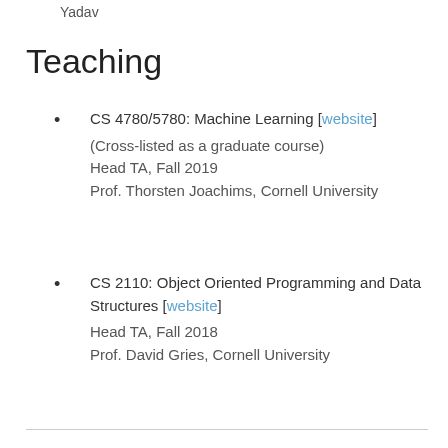Yadav
Teaching
CS 4780/5780: Machine Learning [website]
(Cross-listed as a graduate course)
Head TA, Fall 2019
Prof. Thorsten Joachims, Cornell University
CS 2110: Object Oriented Programming and Data Structures [website]
Head TA, Fall 2018
Prof. David Gries, Cornell University